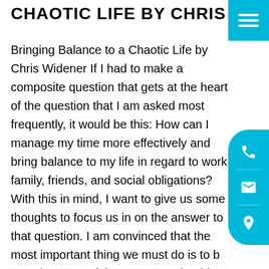CHAOTIC LIFE BY CHRIS WIDENER
Bringing Balance to a Chaotic Life by Chris Widener If I had to make a composite question that gets at the heart of the question that I am asked most frequently, it would be this: How can I manage my time more effectively and bring balance to my life in regard to work, family, friends, and social obligations? With this in mind, I want to give us some thoughts to focus us in on the answer to that question. I am convinced that the most important thing we must do is to be acutely aware of the reasons I should manage my time and bring balance to my life. In fact, most of us really know "how" to do it, don't we? Then why don't we? I think it